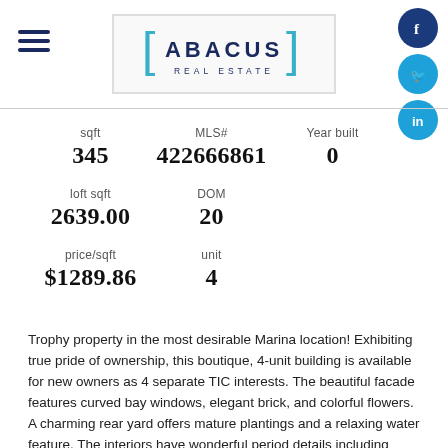[Figure (logo): Abacus Real Estate logo with bracket design]
| sqft | MLS# | Year built |
| --- | --- | --- |
| 345 | 422666861 | 0 |
| loft sqft | DOM |
| --- | --- |
| 2639.00 | 20 |
| price/sqft | unit |
| --- | --- |
| $1289.86 | 4 |
Trophy property in the most desirable Marina location! Exhibiting true pride of ownership, this boutique, 4-unit building is available for new owners as 4 separate TIC interests. The beautiful facade features curved bay windows, elegant brick, and colorful flowers. A charming rear yard offers mature plantings and a relaxing water feature. The interiors have wonderful period details including wainscoting...